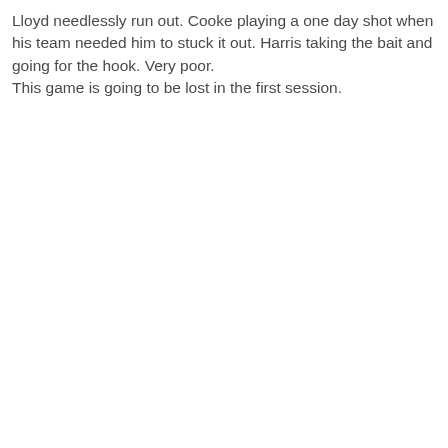Lloyd needlessly run out. Cooke playing a one day shot when his team needed him to stuck it out. Harris taking the bait and going for the hook. Very poor. This game is going to be lost in the first session.